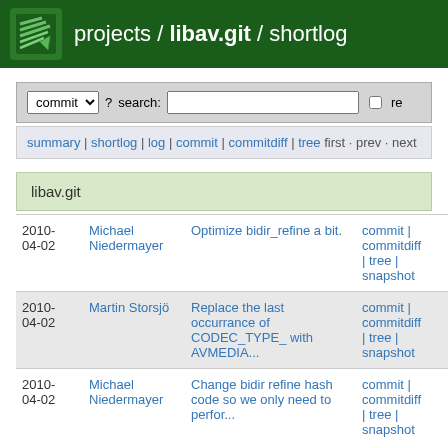projects / libav.git / shortlog
commit ? search: re
summary | shortlog | log | commit | commitdiff | tree first · prev · next
libav.git
| Date | Author | Message | Links |
| --- | --- | --- | --- |
| 2010-04-02 | Michael Niedermayer | Optimize bidir_refine a bit. | commit | commitdiff | tree | snapshot |
| 2010-04-02 | Martin Storsjö | Replace the last occurrance of CODEC_TYPE_ with AVMEDIA... | commit | commitdiff | tree | snapshot |
| 2010-04-02 | Michael Niedermayer | Change bidir refine hash code so we only need to perfor... | commit | commitdiff | tree | snapshot |